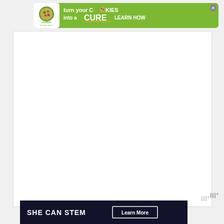[Figure (infographic): Cookies for Kids Cancer advertisement banner: green background with white cookie logo on left, text 'turn your COOKIES into a CURE LEARN HOW' in white bold text, close button (X) top right]
[Figure (infographic): SHE CAN STEM advertisement banner: dark navy/black background with white bold text 'SHE CAN STEM' and a 'Learn More' button with white border]